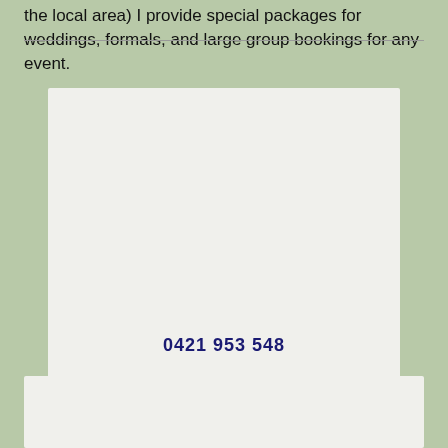the local area) I provide special packages for weddings, formals, and large group bookings for any event.
0421 953 548
[Figure (other): Two white/light-colored card or content blocks on a sage green background. The upper block is large and contains a phone number '0421 953 548' in bold dark navy at the bottom. The lower block is partially visible at the bottom of the page.]